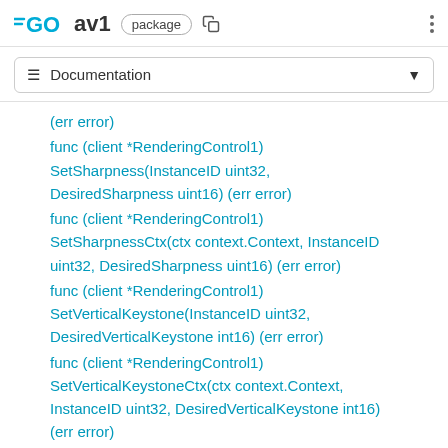GO av1 package
≡ Documentation
(err error)
func (client *RenderingControl1) SetSharpness(InstanceID uint32, DesiredSharpness uint16) (err error)
func (client *RenderingControl1) SetSharpnessCtx(ctx context.Context, InstanceID uint32, DesiredSharpness uint16) (err error)
func (client *RenderingControl1) SetVerticalKeystone(InstanceID uint32, DesiredVerticalKeystone int16) (err error)
func (client *RenderingControl1) SetVerticalKeystoneCtx(ctx context.Context, InstanceID uint32, DesiredVerticalKeystone int16) (err error)
func (client *RenderingControl1)